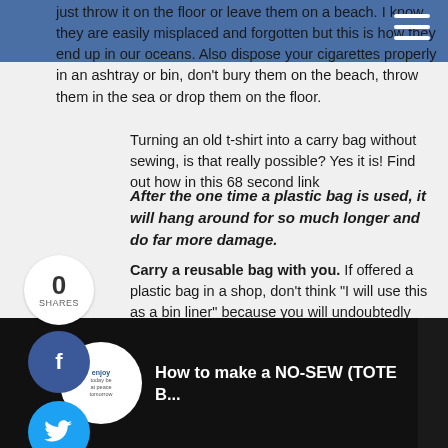just throw it on the floor or leave them on a beach. I know they are easily misplaced and forgotten but this is how they end up in our oceans. Also dispose your cigarettes properly in an ashtray or bin, don't bury them on the beach, throw them in the sea or drop them on the floor.
Carry a reusable bag with you. If offered a plastic bag in a shop, don't think "I will use this as a bin liner" because you will undoubtedly end up with far, far more plastic bags than you actually use, instead, always carry a reusable bag with you to use.
After the one time a plastic bag is used, it will hang around for so much longer and do far more damage.
Turning an old t-shirt into a carry bag without sewing, is that really possible? Yes it is! Find out how in this 68 second link
[Figure (screenshot): Video thumbnail showing 'How to make a NO-SEW (TOTE B...' with a YouTube-style interface, showing a folded t-shirt/bag, a circular logo on the left, and a three-dot menu on the right]